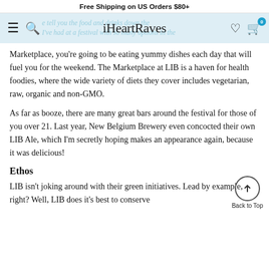Free Shipping on US Orders $80+
iHeartRaves
Marketplace, you're going to be eating yummy dishes each day that will fuel you for the weekend. The Marketplace at LIB is a haven for health foodies, where the wide variety of diets they cover includes vegetarian, raw, organic and non-GMO.
As far as booze, there are many great bars around the festival for those of you over 21. Last year, New Belgium Brewery even concocted their own LIB Ale, which I'm secretly hoping makes an appearance again, because it was delicious!
Ethos
LIB isn't joking around with their green initiatives. Lead by example, right? Well, LIB does it's best to conserve